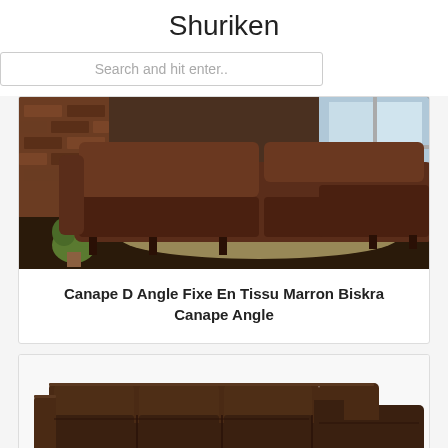Shuriken
Search and hit enter..
[Figure (photo): Dark brown sectional sofa with chaise, suede/fabric texture, in a modern living room with brick wall and large windows]
Canape D Angle Fixe En Tissu Marron Biskra Canape Angle
[Figure (photo): Dark brown leather L-shaped sectional sofa with chaise lounge, modern style on white background]